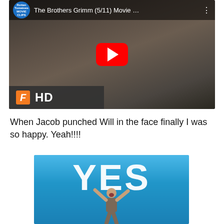[Figure (screenshot): YouTube video thumbnail for 'The Brothers Grimm (5/11) Movie ...' from Rotten Tomatoes Movie Clips channel, showing a man in armored costume with arms spread. A red YouTube play button is overlaid in the center. Bottom-left shows a Fandango HD watermark (orange F logo and 'HD' text on dark background).]
When Jacob punched Will in the face finally I was so happy. Yeah!!!!
[Figure (photo): Image with large white text 'YES' on a blue gradient background, with a person below with arms raised in celebration.]